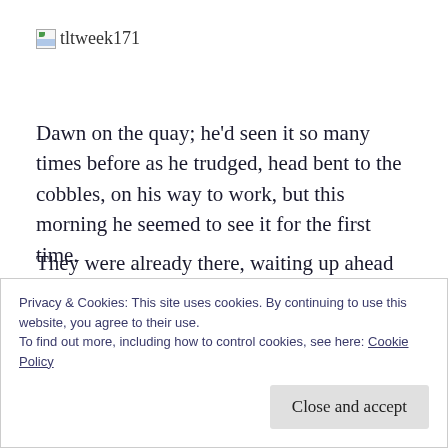[Figure (logo): Broken image icon followed by text 'tltweek171']
Dawn on the quay; he'd seen it so many times before as he trudged, head bent to the cobbles, on his way to work, but this morning he seemed to see it for the first time.
They were already there, waiting up ahead for him, but he slowed his steps, watching the play of the first rays of light on the rippling water, making the damp stone glitter.
Privacy & Cookies: This site uses cookies. By continuing to use this website, you agree to their use.
To find out more, including how to control cookies, see here: Cookie Policy
Close and accept